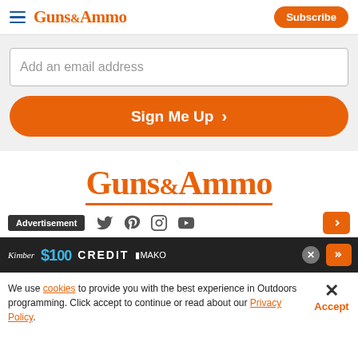GUNS&AMMO | Subscribe
Add an email address
Sign Me Up
[Figure (logo): Guns & Ammo logo in orange serif font, large centered]
Advertisement
[Figure (screenshot): Advertisement banner: Kimber $100 CREDIT MAKO]
We use cookies to provide you with the best experience in Outdoors programming. Click accept to continue or read about our Privacy Policy.